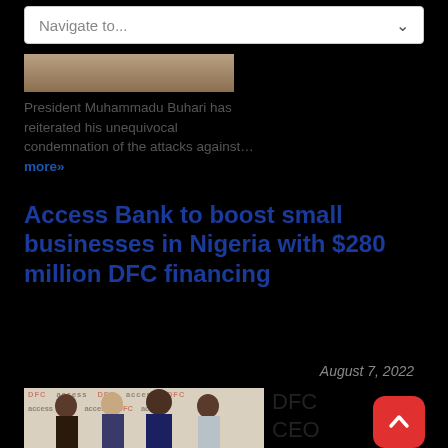Navigate to...
[Figure (photo): Partial photo visible at top — appears to be a room interior with wood paneling]
President Muhammadu Buhari has reiterated his unequivocal condemnation of the attacks against... more»
Access Bank to boost small businesses in Nigeria with $280 million DFC financing
August 7, 2022
[Figure (photo): Group photo of DFC and Access Bank officials standing in front of a branded backdrop with DFC and access logos]
DFC CEO Scott